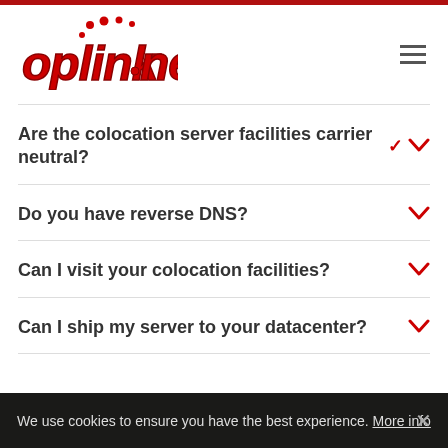[Figure (logo): oplink.net logo with red italic bold text and decorative red dots above]
Are the colocation server facilities carrier neutral?
Do you have reverse DNS?
Can I visit your colocation facilities?
Can I ship my server to your datacenter?
We use cookies to ensure you have the best experience. More info